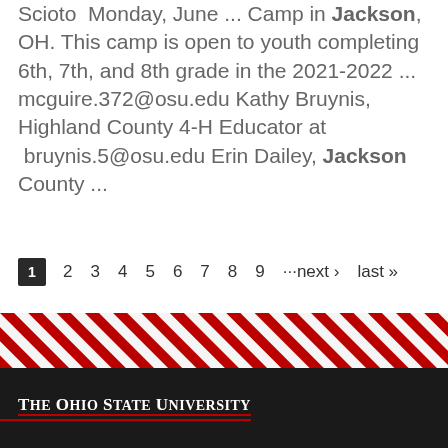Scioto Monday, June ... Camp in Jackson, OH. This camp is open to youth completing 6th, 7th, and 8th grade in the 2021-2022 ... mcguire.372@osu.edu Kathy Bruynis, Highland County 4-H Educator at bruynis.5@osu.edu Erin Dailey, Jackson County ...
1 2 3 4 5 6 7 8 9 ···next › last »
[Figure (other): Diagonal red and white stripe decorative bar]
The Ohio State University